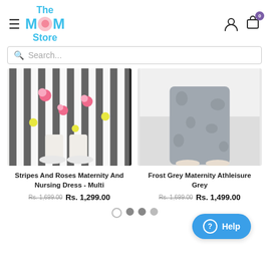[Figure (logo): The MOM Store logo with teal/cyan text and pink circular O icon]
Search...
[Figure (photo): Maternity dress with black and white stripes and pink floral pattern, model wearing white sneakers]
[Figure (photo): Frost grey maternity athleisure leggings, model standing barefoot]
Stripes And Roses Maternity And Nursing Dress - Multi
Frost Grey Maternity Athleisure Grey
Rs. 1,699.00  Rs. 1,299.00
Rs. 1,699.00  Rs. 1,499.00
[Figure (other): Blue help button with question mark icon and 'Help' text]